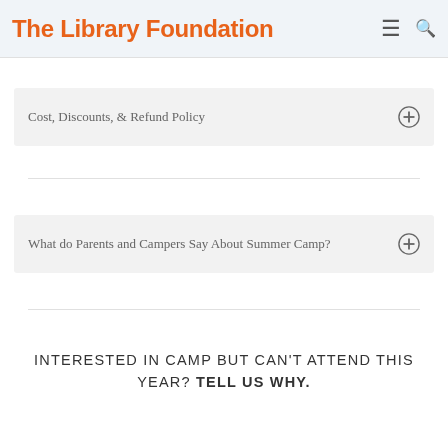The Library Foundation
Cost, Discounts, & Refund Policy
What do Parents and Campers Say About Summer Camp?
INTERESTED IN CAMP BUT CAN'T ATTEND THIS YEAR? TELL US WHY.